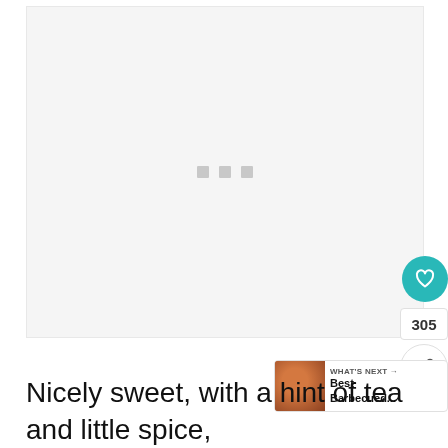[Figure (photo): Large image placeholder with light gray background and three small gray loading dots in the center]
[Figure (other): Teal circular heart/favorite button showing a heart icon, with count '305' below it and a circular share button beneath that]
[Figure (other): WHAT'S NEXT banner with a food thumbnail (barbecued item) and text 'Best Barbecued...']
Nicely sweet, with a hint of tea and little spice,